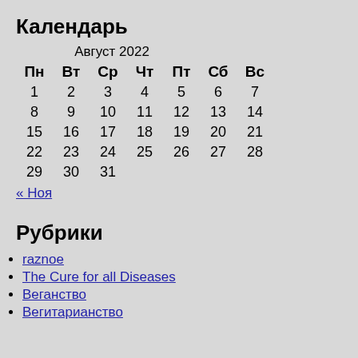Календарь
| Пн | Вт | Ср | Чт | Пт | Сб | Вс |
| --- | --- | --- | --- | --- | --- | --- |
| 1 | 2 | 3 | 4 | 5 | 6 | 7 |
| 8 | 9 | 10 | 11 | 12 | 13 | 14 |
| 15 | 16 | 17 | 18 | 19 | 20 | 21 |
| 22 | 23 | 24 | 25 | 26 | 27 | 28 |
| 29 | 30 | 31 |  |  |  |  |
« Ноя
Рубрики
raznoe
The Cure for all Diseases
Веганство
Вегитарианство